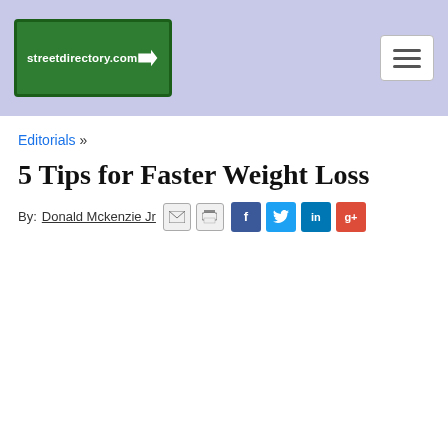streetdirectory.com
Editorials »
5 Tips for Faster Weight Loss
By: Donald Mckenzie Jr